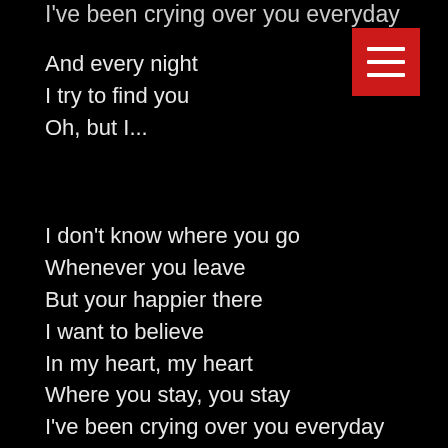I've been crying over you everyday
And every night
I try to find you
Oh, but I...
I don't know where you go
Whenever you leave
But your happier there
I want to believe
In my heart, my heart
Where you stay, you stay
I've been crying over you everyday